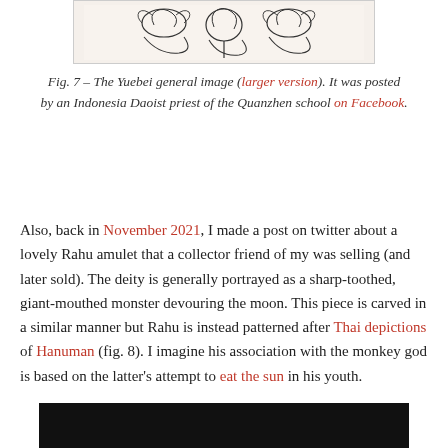[Figure (illustration): Partial view of the Yuebei general image — a line drawing showing decorative figures with elaborate headdresses and details, cropped at the top of the page.]
Fig. 7 – The Yuebei general image (larger version). It was posted by an Indonesia Daoist priest of the Quanzhen school on Facebook.
Also, back in November 2021, I made a post on twitter about a lovely Rahu amulet that a collector friend of my was selling (and later sold). The deity is generally portrayed as a sharp-toothed, giant-mouthed monster devouring the moon. This piece is carved in a similar manner but Rahu is instead patterned after Thai depictions of Hanuman (fig. 8). I imagine his association with the monkey god is based on the latter's attempt to eat the sun in his youth.
[Figure (photo): Bottom portion of a dark/black image, partially visible at the bottom of the page.]